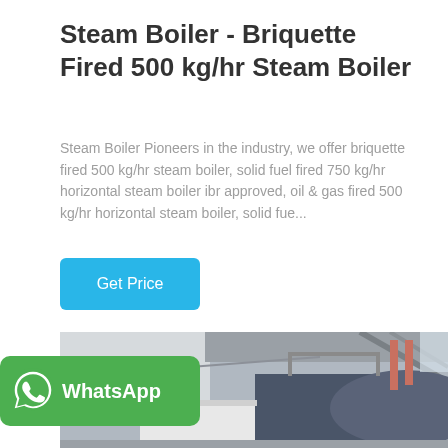Steam Boiler - Briquette Fired 500 kg/hr Steam Boiler
Steam Boiler Pioneers in the industry, we offer briquette fired 500 kg/hr steam boiler, solid fuel fired 750 kg/hr horizontal steam boiler ibr approved, oil & gas fired 500 kg/hr horizontal steam boiler, solid fue...
[Figure (other): A cyan/blue 'Get Price' button]
[Figure (photo): Industrial steam boiler installed in a facility, showing a large blue cylindrical boiler with copper/pink pipes and steel framework in a grey industrial building]
[Figure (logo): WhatsApp green badge with WhatsApp logo icon and 'WhatsApp' text in white]